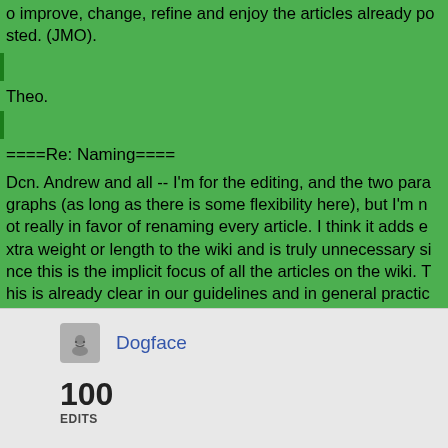o improve, change, refine and enjoy the articles already posted. (JMO).
Theo.
====Re: Naming====
Dcn. Andrew and all -- I'm for the editing, and the two paragraphs (as long as there is some flexibility here), but I'm not really in favor of renaming every article. I think it adds extra weight or length to the wiki and is truly unnecessary since this is the implicit focus of all the articles on the wiki. This is already clear in our guidelines and in general practice (though I understand that the impetus for this proposal is
Dogface
100
EDITS